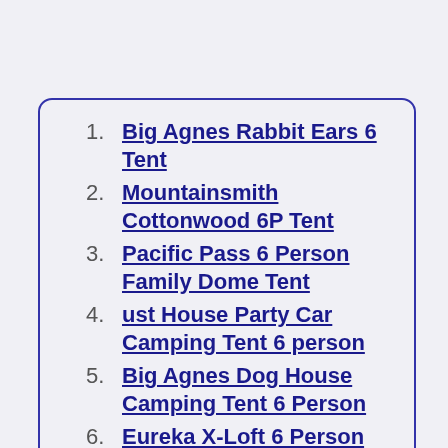Big Agnes Rabbit Ears 6 Tent
Mountainsmith Cottonwood 6P Tent
Pacific Pass 6 Person Family Dome Tent
ust House Party Car Camping Tent 6 person
Big Agnes Dog House Camping Tent 6 Person
Eureka X-Loft 6 Person Tent
Sierra Designs Nomad 6 Person Tent